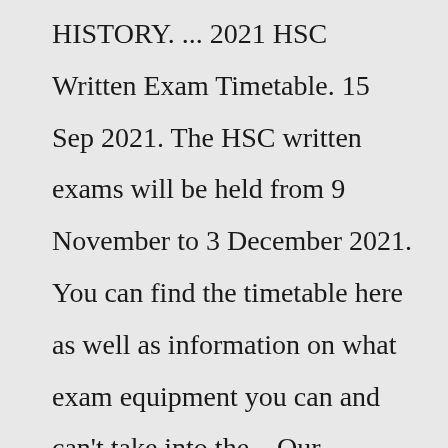HISTORY. ... 2021 HSC Written Exam Timetable. 15 Sep 2021. The HSC written exams will be held from 9 November to 3 December 2021. You can find the timetable here as well as information on what exam equipment you can and can't take into the ...Our experienced Museum educators will use specimens from the Museum collection to illustrate responses to previous HSC PDHPE examination questions for